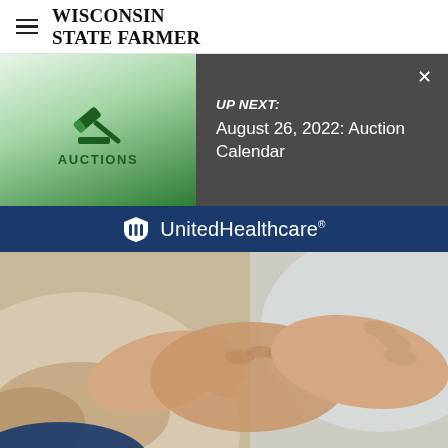WISCONSIN STATE FARMER
UP NEXT: August 26, 2022: Auction Calendar
[Figure (logo): UnitedHealthcare logo with shield icon and text on dark blue banner]
[Figure (photo): Close-up of two pairs of hands clasped together — one person wearing a beige knit sweater, the other in a white coat (caregiver/doctor), conveying comfort and care]